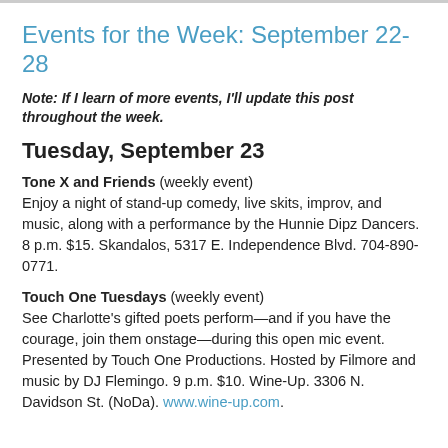Events for the Week: September 22-28
Note: If I learn of more events, I'll update this post throughout the week.
Tuesday, September 23
Tone X and Friends (weekly event) Enjoy a night of stand-up comedy, live skits, improv, and music, along with a performance by the Hunnie Dipz Dancers. 8 p.m. $15. Skandalos, 5317 E. Independence Blvd. 704-890-0771.
Touch One Tuesdays (weekly event) See Charlotte's gifted poets perform—and if you have the courage, join them onstage—during this open mic event. Presented by Touch One Productions. Hosted by Filmore and music by DJ Flemingo. 9 p.m. $10. Wine-Up. 3306 N. Davidson St. (NoDa). www.wine-up.com.